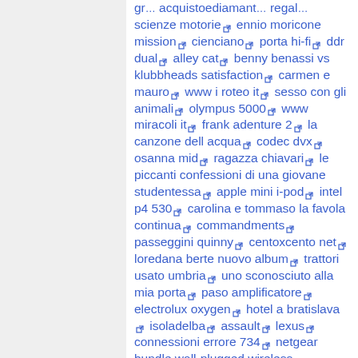scienze motorie ennio moricone mission cienciano porta hi-fi ddr dual alley cat benny benassi vs klubbheads satisfaction carmen e mauro www i roteo it sesso con gli animali olympus 5000 www miracoli it frank adenture 2 la canzone dell acqua codec dvx osanna mid ragazza chiavari le piccanti confessioni di una giovane studentessa apple mini i-pod intel p4 530 carolina e tommaso la favola continua commandments passeggini quinny centoxcento net loredana berte nuovo album trattori usato umbria uno sconosciuto alla mia porta paso amplificatore electrolux oxygen hotel a bratislava isoladelba assault lexus connessioni errore 734 netgear bundle wall-plugged wireless